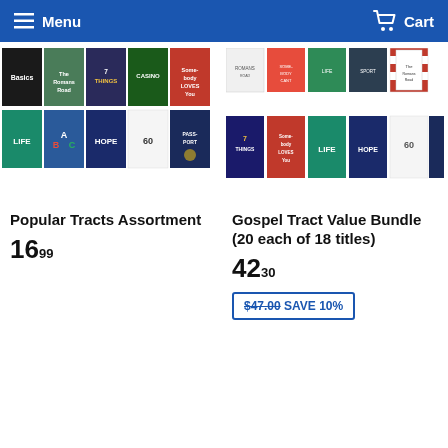Menu   Cart
[Figure (photo): Collage of popular gospel tracts in two rows of five, showing various colorful tract covers]
Popular Tracts Assortment
16⁹⁹
[Figure (photo): Collage of gospel tract value bundle covers in two rows showing various titles]
Gospel Tract Value Bundle (20 each of 18 titles)
42³⁰
$47.00 SAVE 10%